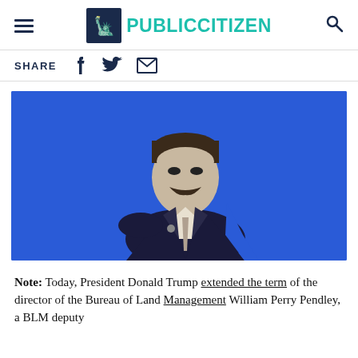PUBLIC CITIZEN
SHARE
[Figure (photo): A man in a dark suit and tie with a mustache posed in front of a blue background, rendered in blue-toned duotone style. Likely William Perry Pendley.]
Note: Today, President Donald Trump extended the term of the director of the Bureau of Land Management William Perry Pendley, a BLM deputy